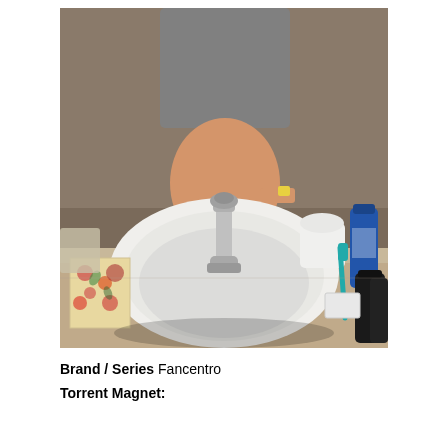[Figure (photo): Bathroom scene photo showing a white sink with a chrome faucet in the foreground, bathroom counter items including a floral tissue box, toothbrush, blue bottle, and black bottles on the right, and a person wearing a gray sweatshirt bending over in the background reflection.]
Brand / Series Fancentro
Torrent Magnet: